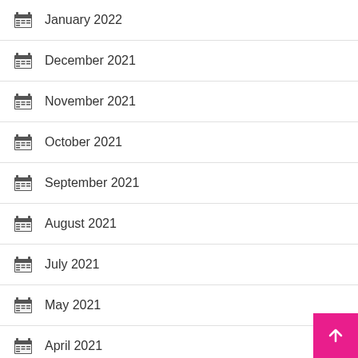January 2022
December 2021
November 2021
October 2021
September 2021
August 2021
July 2021
May 2021
April 2021
March 2021
February 2021
January 2021
December 2020